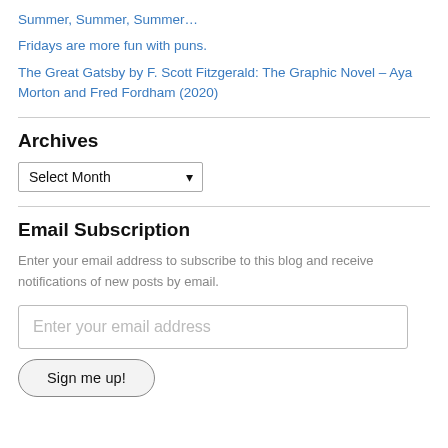Summer, Summer, Summer…
Fridays are more fun with puns.
The Great Gatsby by F. Scott Fitzgerald: The Graphic Novel – Aya Morton and Fred Fordham (2020)
Archives
Select Month
Email Subscription
Enter your email address to subscribe to this blog and receive notifications of new posts by email.
Enter your email address
Sign me up!